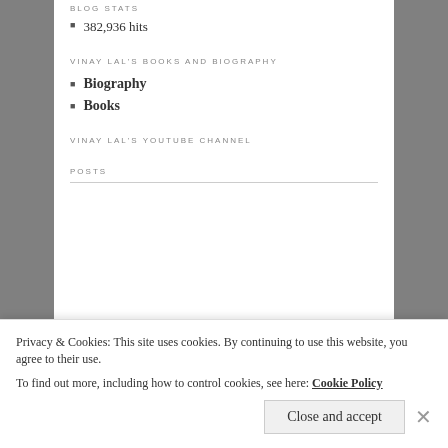BLOG STATS
382,936 hits
VINAY LAL'S BOOKS AND BIOGRAPHY
Biography
Books
VINAY LAL'S YOUTUBE CHANNEL
POSTS
Privacy & Cookies: This site uses cookies. By continuing to use this website, you agree to their use.
To find out more, including how to control cookies, see here: Cookie Policy
Close and accept